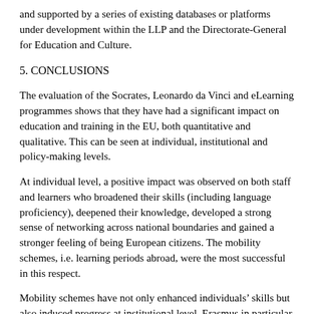and supported by a series of existing databases or platforms under development within the LLP and the Directorate-General for Education and Culture.
5. CONCLUSIONS
The evaluation of the Socrates, Leonardo da Vinci and eLearning programmes shows that they have had a significant impact on education and training in the EU, both quantitative and qualitative. This can be seen at individual, institutional and policy-making levels.
At individual level, a positive impact was observed on both staff and learners who broadened their skills (including language proficiency), deepened their knowledge, developed a strong sense of networking across national boundaries and gained a stronger feeling of being European citizens. The mobility schemes, i.e. learning periods abroad, were the most successful in this respect.
Mobility schemes have not only enhanced individuals’ skills but also induced progress at institutional level. Erasmus in particular has embedded mobility in university life and led to structural changes and modernisation in higher education in Europe. As a result of various types of partnership and project, improvements in teaching, learning and management and structural changes in curricula or systems were also observed, in particular in the work